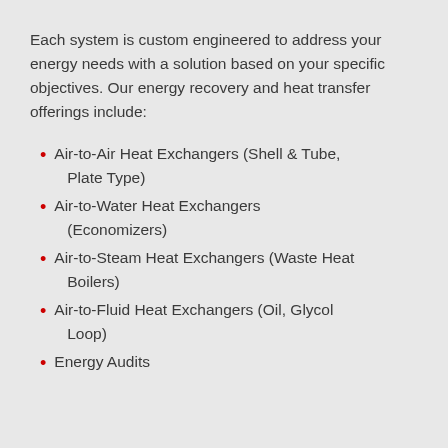Each system is custom engineered to address your energy needs with a solution based on your specific objectives. Our energy recovery and heat transfer offerings include:
Air-to-Air Heat Exchangers (Shell & Tube, Plate Type)
Air-to-Water Heat Exchangers (Economizers)
Air-to-Steam Heat Exchangers (Waste Heat Boilers)
Air-to-Fluid Heat Exchangers (Oil, Glycol Loop)
Energy Audits